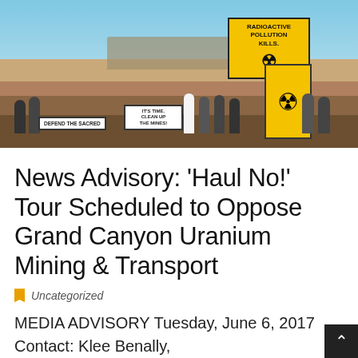[Figure (photo): Protesters at the Grand Canyon holding banners including 'Defend the Sacred', 'It's Time Clean Up the Mines!', and a large yellow banner reading 'Radioactive Pollution Kills.' with a radiation symbol. Mountains and blue sky in background.]
News Advisory: ‘Haul No!’ Tour Scheduled to Oppose Grand Canyon Uranium Mining & Transport
Uncategorized
MEDIA ADVISORY Tuesday, June 6, 2017 Contact: Klee Benally, indigenousaction@gmail.com Sarana Riggs stopcanyonmine@gmail.com ‘Haul No!’ Tour Scheduled to Oppose Grand Canyon Uranium Mining & Transport